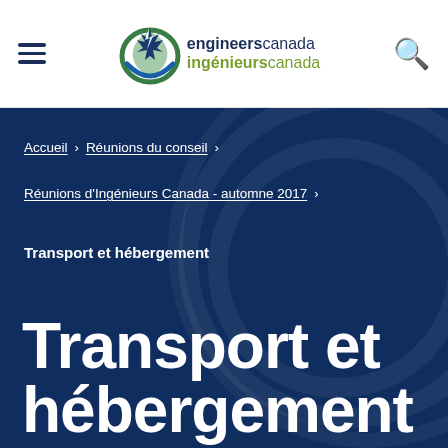[Figure (logo): Engineers Canada / Ingénieurs Canada logo with maple leaf and stylized ring graphic]
engineers canada ingénieurs canada
Accueil › Réunions du conseil ›
Réunions d'Ingénieurs Canada - automne 2017 ›
Transport et hébergement
Transport et hébergement